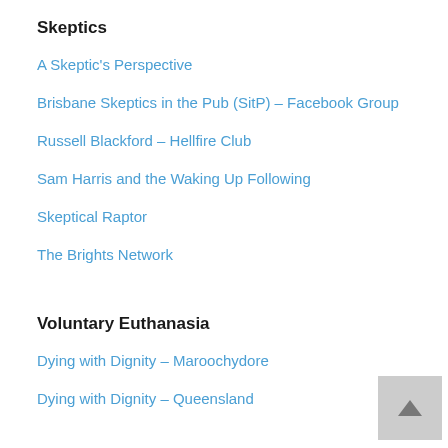Skeptics
A Skeptic's Perspective
Brisbane Skeptics in the Pub (SitP) – Facebook Group
Russell Blackford – Hellfire Club
Sam Harris and the Waking Up Following
Skeptical Raptor
The Brights Network
Voluntary Euthanasia
Dying with Dignity – Maroochydore
Dying with Dignity – Queensland
Categories
Education
General